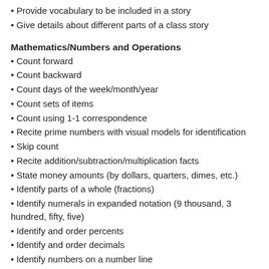Provide vocabulary to be included in a story
Give details about different parts of a class story
Mathematics/Numbers and Operations
Count forward
Count backward
Count days of the week/month/year
Count sets of items
Count using 1-1 correspondence
Recite prime numbers with visual models for identification
Skip count
Recite addition/subtraction/multiplication facts
State money amounts (by dollars, quarters, dimes, etc.)
Identify parts of a whole (fractions)
Identify numerals in expanded notation (9 thousand, 3 hundred, fifty, five)
Identify and order percents
Identify and order decimals
Identify numbers on a number line
Mathematics/Measurement
State the order of objects based on a dimension (e.g.